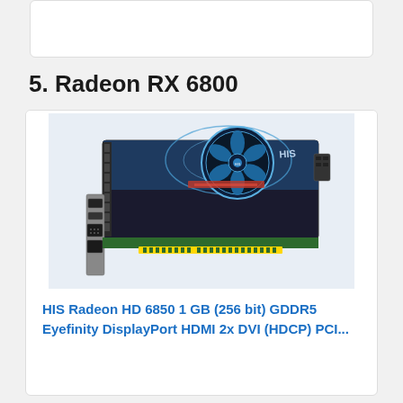5. Radeon RX 6800
[Figure (photo): HIS Radeon HD 6850 graphics card with blue fan cooler and HIS branding, showing PCIe connector and display outputs]
HIS Radeon HD 6850 1 GB (256 bit) GDDR5 Eyefinity DisplayPort HDMI 2x DVI (HDCP) PCI...